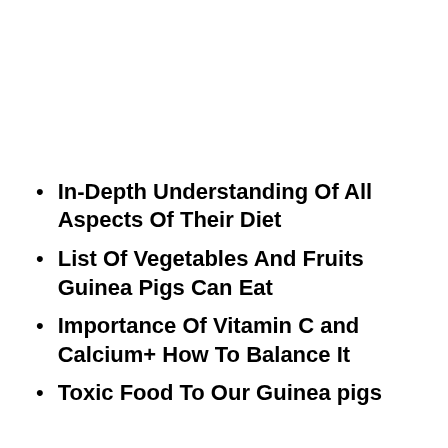In-Depth Understanding Of All Aspects Of Their Diet
List Of Vegetables And Fruits Guinea Pigs Can Eat
Importance Of Vitamin C and Calcium+ How To Balance It
Toxic Food To Our Guinea pigs